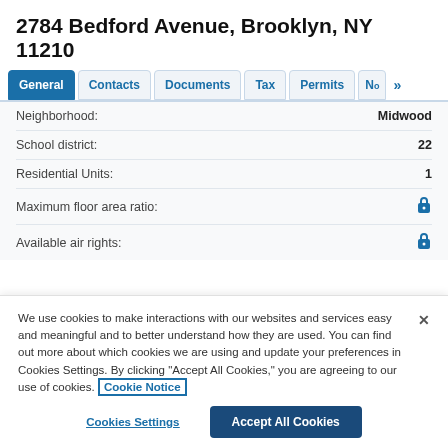2784 Bedford Avenue, Brooklyn, NY 11210
General | Contacts | Documents | Tax | Permits | N »
| Field | Value |
| --- | --- |
| Neighborhood: | Midwood |
| School district: | 22 |
| Residential Units: | 1 |
| Maximum floor area ratio: | 🔒 |
| Available air rights: | 🔒 |
We use cookies to make interactions with our websites and services easy and meaningful and to better understand how they are used. You can find out more about which cookies we are using and update your preferences in Cookies Settings. By clicking "Accept All Cookies," you are agreeing to our use of cookies. Cookie Notice
Cookies Settings | Accept All Cookies